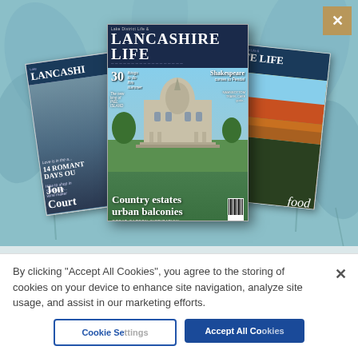[Figure (photo): Three Lancashire Life magazine covers fanned out against a light teal/blue background with leaf patterns. Center magazine prominently shows 'Lake District Life & LANCASHIRE LIFE' with a grand building and text 'Country estates urban balconies GREAT GARDEN INSPIRATION'. Left magazine shows Lancashire Life cover with romantic days text and Jon Court. Right magazine shows District Life & Life cover with food feature and autumn foliage.]
SUBSCRIBE TODAY AND GET A £10 WATERSTONES E-GIFT CARD
By clicking "Accept All Cookies", you agree to the storing of cookies on your device to enhance site navigation, analyze site usage, and assist in our marketing efforts.